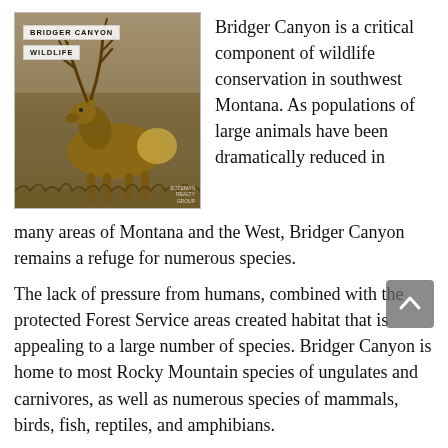[Figure (photo): Photo of an elk (large male with antlers) standing in a field. White label overlays read 'BRIDGER CANYON' and 'WILDLIFE'. Small photographer credit in bottom-right corner.]
Bridger Canyon is a critical component of wildlife conservation in southwest Montana. As populations of large animals have been dramatically reduced in many areas of Montana and the West, Bridger Canyon remains a refuge for numerous species.
The lack of pressure from humans, combined with the protected Forest Service areas created habitat that is appealing to a large number of species. Bridger Canyon is home to most Rocky Mountain species of ungulates and carnivores, as well as numerous species of mammals, birds, fish, reptiles, and amphibians.